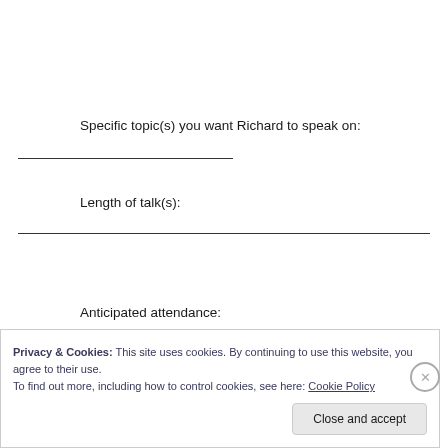Specific topic(s) you want Richard to speak on:
Length of talk(s):
Anticipated attendance:
Privacy & Cookies: This site uses cookies. By continuing to use this website, you agree to their use.
To find out more, including how to control cookies, see here: Cookie Policy